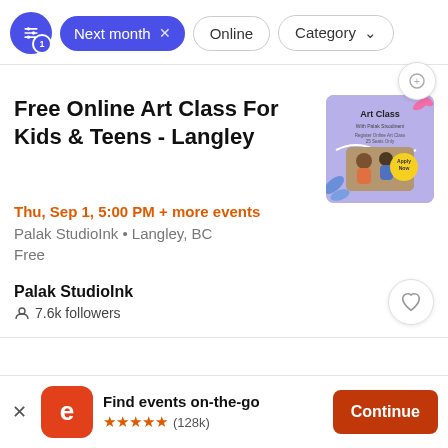Next month × Online Category
Free Online Art Class For Kids & Teens - Langley
Thu, Sep 1, 5:00 PM + more events
Palak StudioInk • Langley, BC
Free
[Figure (photo): Art Class promotional flyer with purple background, children doing art, and a yellow circular badge]
Palak StudioInk
7.6k followers
Find events on-the-go ★★★★★ (128k) Continue